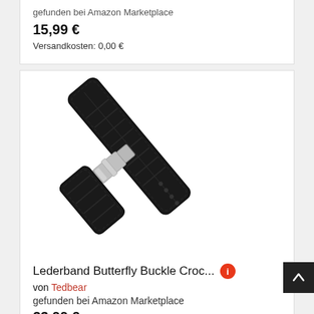gefunden bei Amazon Marketplace
15,99 €
Versandkosten: 0,00 €
[Figure (photo): Black leather watch strap with crocodile pattern and butterfly buckle clasp, shown diagonally on white background]
Lederband Butterfly Buckle Croc...
von Tedbear
gefunden bei Amazon Marketplace
23,99 €